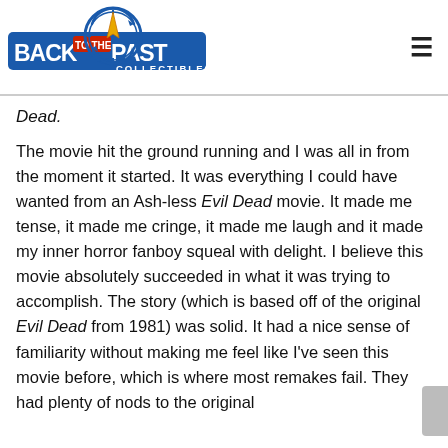[Figure (logo): Back to the Past Collectibles logo featuring a compass/stopwatch graphic with a lightning bolt arrow, blue banner with white and red text reading BACK TO THE PAST COLLECTIBLES]
Dead.
The movie hit the ground running and I was all in from the moment it started. It was everything I could have wanted from an Ash-less Evil Dead movie. It made me tense, it made me cringe, it made me laugh and it made my inner horror fanboy squeal with delight. I believe this movie absolutely succeeded in what it was trying to accomplish. The story (which is based off of the original Evil Dead from 1981) was solid. It had a nice sense of familiarity without making me feel like I've seen this movie before, which is where most remakes fail. They had plenty of nods to the original